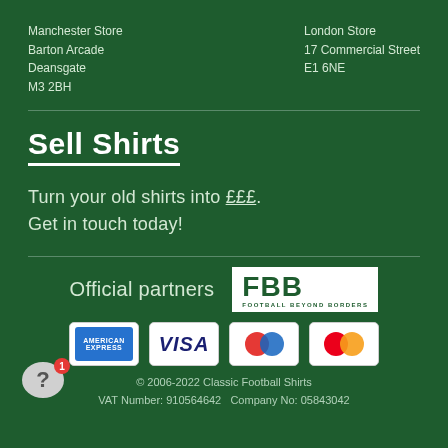Manchester Store
Barton Arcade
Deansgate
M3 2BH
London Store
17 Commercial Street
E1 6NE
Sell Shirts
Turn your old shirts into £££.
Get in touch today!
[Figure (logo): FBB Football Beyond Borders logo - official partners]
[Figure (logo): Payment method logos: American Express, Visa, Maestro, Mastercard]
© 2006-2022 Classic Football Shirts
VAT Number: 910564642   Company No: 05843042